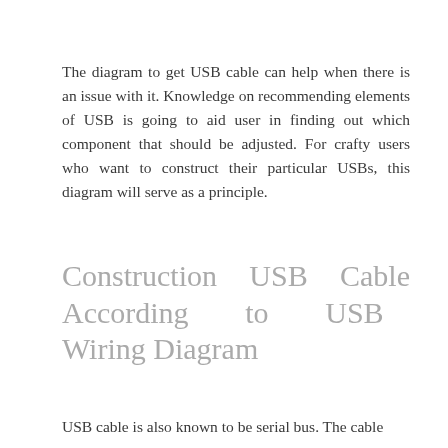The diagram to get USB cable can help when there is an issue with it. Knowledge on recommending elements of USB is going to aid user in finding out which component that should be adjusted. For crafty users who want to construct their particular USBs, this diagram will serve as a principle.
Construction USB Cable According to USB Wiring Diagram
USB cable is also known to be serial bus. The cable